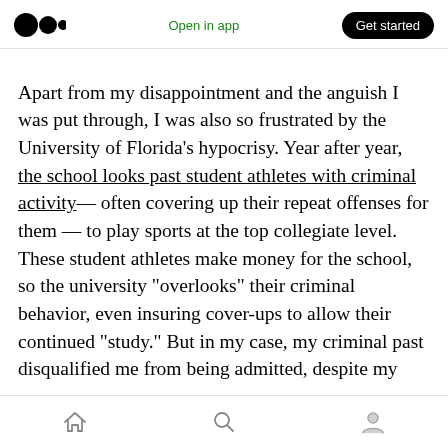Medium logo | Open in app | Get started
Apart from my disappointment and the anguish I was put through, I was also so frustrated by the University of Florida's hypocrisy. Year after year, the school looks past student athletes with criminal activity— often covering up their repeat offenses for them — to play sports at the top collegiate level. These student athletes make money for the school, so the university "overlooks" their criminal behavior, even insuring cover-ups to allow their continued "study." But in my case, my criminal past disqualified me from being admitted, despite my
Home | Search | Profile